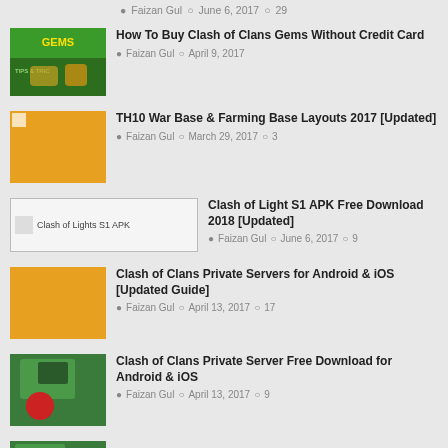Faizan Gul  June 6, 2017  29
How To Buy Clash of Clans Gems Without Credit Card — Faizan Gul  April 9, 2017
TH10 War Base & Farming Base Layouts 2017 [Updated] — Faizan Gul  March 29, 2017  3
Clash of Light S1 APK Free Download 2018 [Updated] — Faizan Gul  June 6, 2017  9
Clash of Clans Private Servers for Android & iOS [Updated Guide] — Faizan Gul  April 13, 2017  17
Clash of Clans Private Server Free Download for Android & iOS — Faizan Gul  April 13, 2017  9